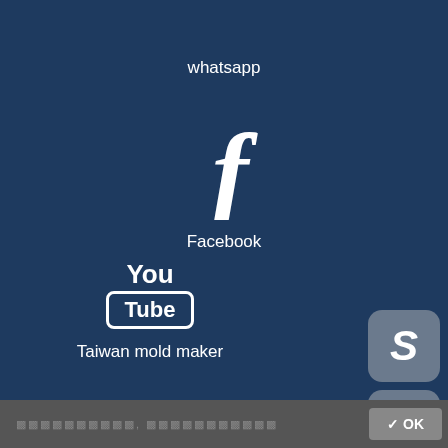whatsapp
[Figure (logo): Facebook 'f' logo icon in white]
Facebook
[Figure (logo): YouTube logo with 'You' text above and 'Tube' in a rounded rectangle box]
Taiwan mold maker
[Figure (logo): Skype 'S' icon in a rounded square button]
[Figure (logo): Upload/share arrow icon in a rounded square button]
✓ OK